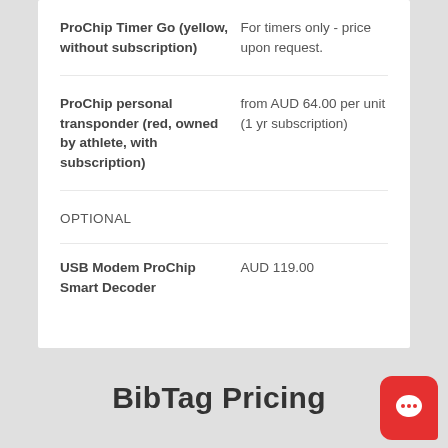| Product | Price |
| --- | --- |
| ProChip Timer Go (yellow, without subscription) | For timers only - price upon request. |
| ProChip personal transponder (red, owned by athlete, with subscription) | from AUD 64.00 per unit (1 yr subscription) |
| OPTIONAL |  |
| USB Modem ProChip Smart Decoder | AUD 119.00 |
BibTag Pricing